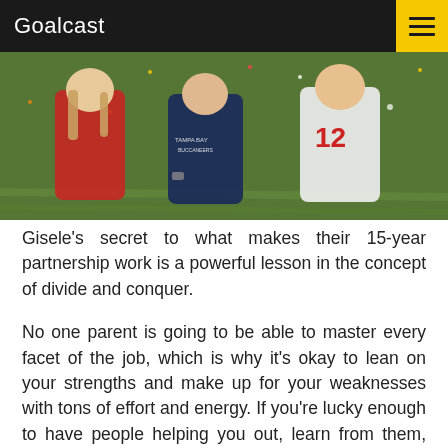Goalcast
[Figure (photo): Photo of people including a football player wearing jersey number 12, celebrating on a field with confetti, related to Tampa Bay Buccaneers]
Gisele's secret to what makes their 15-year partnership work is a powerful lesson in the concept of divide and conquer.
No one parent is going to be able to master every facet of the job, which is why it's okay to lean on your strengths and make up for your weaknesses with tons of effort and energy. If you're lucky enough to have people helping you out, learn from them, and don't feel bad about not being able to tend to everything.
Compromises are part of the package; as long as you genuinely value your family and are willing to step up to the...